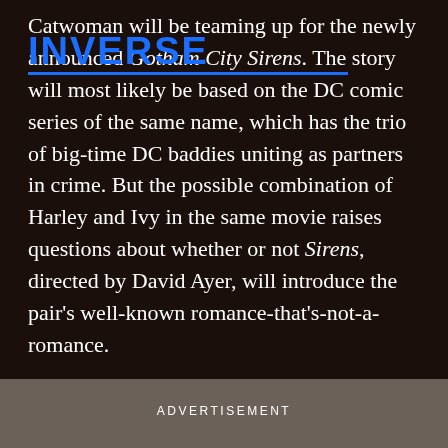Catwoman will be teaming up for the newly announced Gotham City Sirens. The story will most likely be based on the DC comic series of the same name, which has the trio of big-time DC baddies uniting as partners in crime. But the possible combination of Harley and Ivy in the same movie raises questions about whether or not Sirens, directed by David Ayer, will introduce the pair's well-known romance-that's-not-a-romance.
ADVERTISEMENT